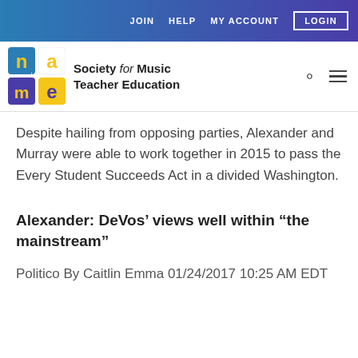JOIN   HELP   MY ACCOUNT   LOGIN
[Figure (logo): NAME (Society for Music Teacher Education) logo with colorful letter tiles and organization name]
Despite hailing from opposing parties, Alexander and Murray were able to work together in 2015 to pass the Every Student Succeeds Act in a divided Washington.
Alexander: DeVos’ views well within “the mainstream”
Politico By Caitlin Emma 01/24/2017 10:25 AM EDT